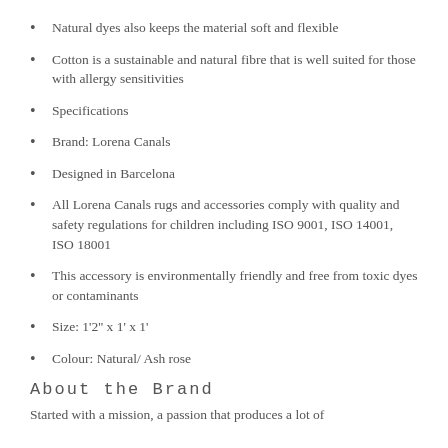Natural dyes also keeps the material soft and flexible
Cotton is a sustainable and natural fibre that is well suited for those with allergy sensitivities
Specifications
Brand: Lorena Canals
Designed in Barcelona
All Lorena Canals rugs and accessories comply with quality and safety regulations for children including ISO 9001, ISO 14001, ISO 18001
This accessory is environmentally friendly and free from toxic dyes or contaminants
Size: 1'2'' x 1' x 1'
Colour: Natural/ Ash rose
About the Brand
Started with a mission, a passion that produces a lot of…